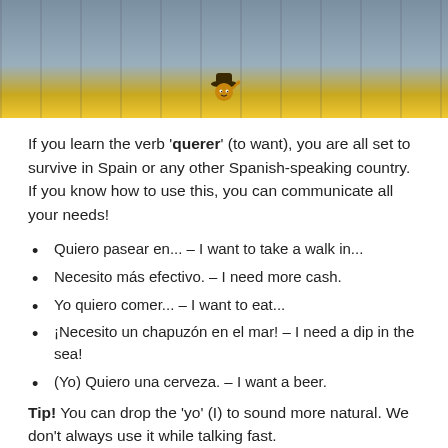[Figure (photo): Photo banner showing a city street scene with buildings, a yellow surface at the bottom, and a small cartoon mascot character in the center.]
If you learn the verb 'querer' (to want), you are all set to survive in Spain or any other Spanish-speaking country. If you know how to use this, you can communicate all your needs!
Quiero pasear en... – I want to take a walk in...
Necesito más efectivo. – I need more cash.
Yo quiero comer... – I want to eat...
¡Necesito un chapuzón en el mar! – I need a dip in the sea!
(Yo) Quiero una cerveza. – I want a beer.
Tip! You can drop the 'yo' (I) to sound more natural. We don't always use it while talking fast.
Quisiera... – I would like... (The literal translation